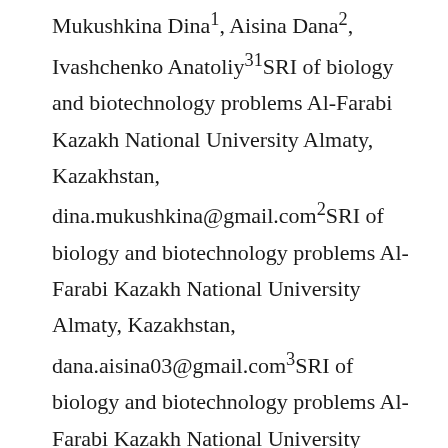Mukushkina Dina1, Aisina Dana2, Ivashchenko Anatoliy31SRI of biology and biotechnology problems Al-Farabi Kazakh National University Almaty, Kazakhstan, dina.mukushkina@gmail.com2SRI of biology and biotechnology problems Al-Farabi Kazakh National University Almaty, Kazakhstan, dana.aisina03@gmail.com3SRI of biology and biotechnology problems Al-Farabi Kazakh National University Almaty, Kazakhstan, a.iavashchenko@gmail.com Many candidate genes are involved in the development of atherosclerosis, which are manifested in a variety of metabolic processes, disturbances of which are observed in this disease. Many publications describe the involvement of miRNAs in the development of atherosclerosis. Therefore, it is necessary to establish which miRNAs can affect the expression of candidate genes. Quantitative characteristics of the